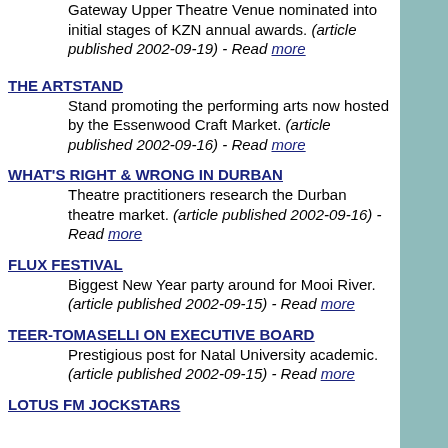Gateway Upper Theatre Venue nominated into initial stages of KZN annual awards. (article published 2002-09-19) - Read more
THE ARTSTAND
Stand promoting the performing arts now hosted by the Essenwood Craft Market. (article published 2002-09-16) - Read more
WHAT'S RIGHT & WRONG IN DURBAN
Theatre practitioners research the Durban theatre market. (article published 2002-09-16) - Read more
FLUX FESTIVAL
Biggest New Year party around for Mooi River. (article published 2002-09-15) - Read more
TEER-TOMASELLI ON EXECUTIVE BOARD
Prestigious post for Natal University academic. (article published 2002-09-15) - Read more
LOTUS FM JOCKSTARS